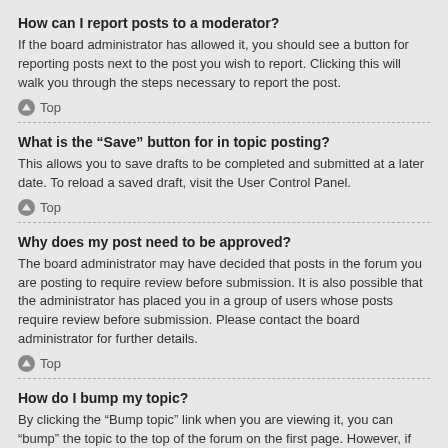How can I report posts to a moderator?
If the board administrator has allowed it, you should see a button for reporting posts next to the post you wish to report. Clicking this will walk you through the steps necessary to report the post.
Top
What is the “Save” button for in topic posting?
This allows you to save drafts to be completed and submitted at a later date. To reload a saved draft, visit the User Control Panel.
Top
Why does my post need to be approved?
The board administrator may have decided that posts in the forum you are posting to require review before submission. It is also possible that the administrator has placed you in a group of users whose posts require review before submission. Please contact the board administrator for further details.
Top
How do I bump my topic?
By clicking the “Bump topic” link when you are viewing it, you can “bump” the topic to the top of the forum on the first page. However, if you do not see this, then topic bumping may be disabled or the time allowance between bumps has not yet been reached. It is also possible to bump the topic simply by replying to it, however, be sure to follow the board rules when doing so.